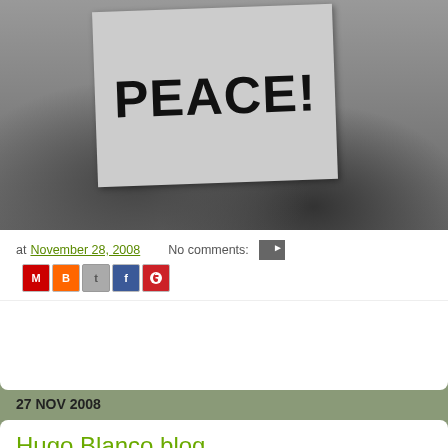[Figure (photo): Black and white protest photo showing someone holding a sign that reads 'PEACE!']
at November 28, 2008  No comments:
27 NOV 2008
Hugo Blanco blog
[Figure (photo): Broken image placeholder for Hugo Blanco blog post]
Oscar has put a blog together for hi...
Great to see the most important Pe... leading light of ecosocialism on the... Weston-Super-Mare.
So take a look here and make sure... Blanco.blogspot...